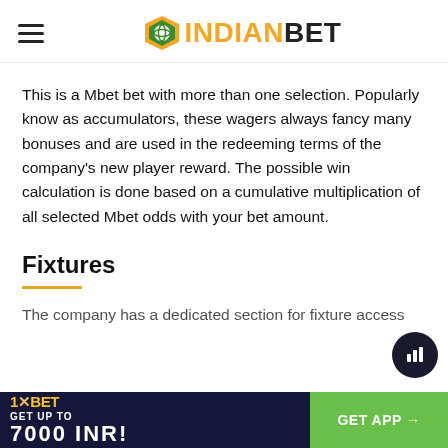INDIANBET (logo with hamburger menu)
This is a Mbet bet with more than one selection. Popularly know as accumulators, these wagers always fancy many bonuses and are used in the redeeming terms of the company's new player reward. The possible win calculation is done based on a cumulative multiplication of all selected Mbet odds with your bet amount.
Fixtures
The company has a dedicated section for fixture access
[Figure (other): 1xBET advertisement banner: GET UP TO 7000 INR! with GET APP button]